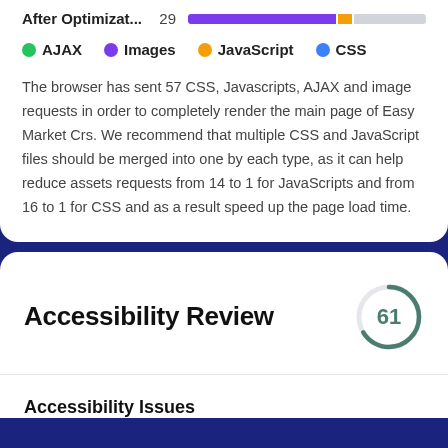After Optimizat... 29
AJAX  Images  JavaScript  CSS
The browser has sent 57 CSS, Javascripts, AJAX and image requests in order to completely render the main page of Easy Market Crs. We recommend that multiple CSS and JavaScript files should be merged into one by each type, as it can help reduce assets requests from 14 to 1 for JavaScripts and from 16 to 1 for CSS and as a result speed up the page load time.
Accessibility Review
[Figure (other): Score circle showing 61]
Accessibility Issues